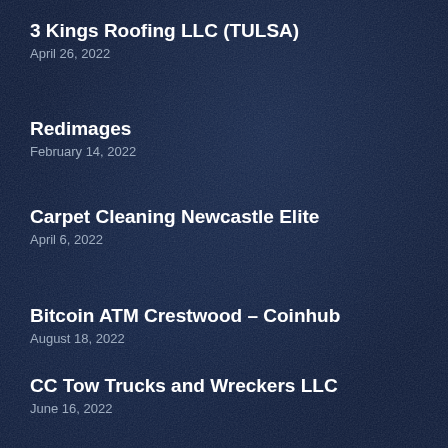3 Kings Roofing LLC (TULSA)
April 26, 2022
Redimages
February 14, 2022
Carpet Cleaning Newcastle Elite
April 6, 2022
Bitcoin ATM Crestwood – Coinhub
August 18, 2022
CC Tow Trucks and Wreckers LLC
June 16, 2022